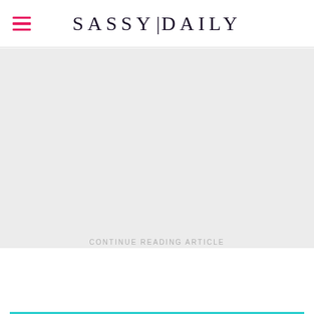SASSY|DAILY
[Figure (other): Gray placeholder area for article image]
CONTINUE READING ARTICLE
30 Thin Double Nose Ring in Silver